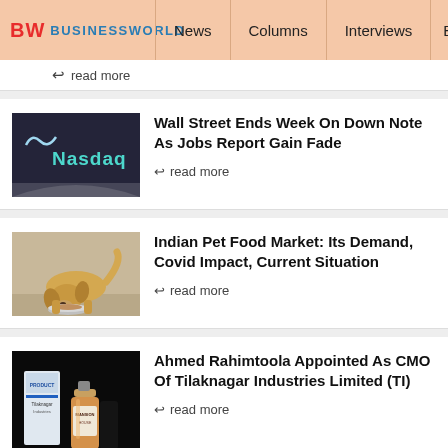BW BUSINESSWORLD | News | Columns | Interviews | BW
↩ read more
Wall Street Ends Week On Down Note As Jobs Report Gain Fade
↩ read more
Indian Pet Food Market: Its Demand, Covid Impact, Current Situation
↩ read more
Ahmed Rahimtoola Appointed As CMO Of Tilaknagar Industries Limited (TI)
↩ read more